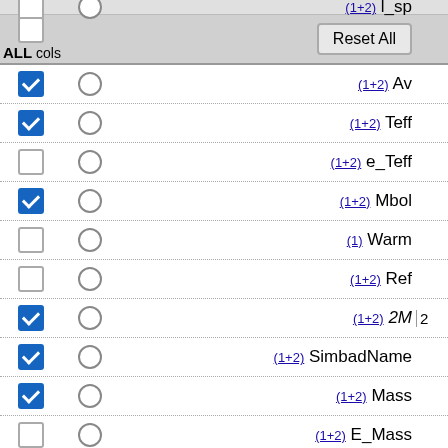[Figure (screenshot): UI panel showing a column selection interface with checkboxes, radio buttons, category links (1+2) or (1), and field names: Av, Teff, e_Teff, Mbol, Warm, Ref, 2M, SimbadName, Mass, E_Mass, e_Mass, l_logtau, logtau. Some rows have checked (blue) checkboxes, others unchecked. Two 'Reset All' buttons appear at top and bottom with 'ALL cols' labels.]